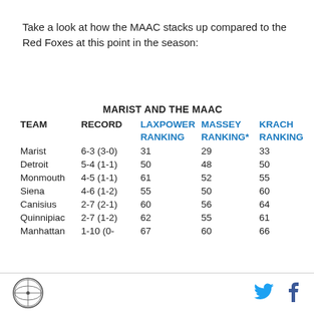Take a look at how the MAAC stacks up compared to the Red Foxes at this point in the season:
| TEAM | RECORD | LAXPOWER RANKING | MASSEY RANKING* | KRACH RANKING |
| --- | --- | --- | --- | --- |
| Marist | 6-3 (3-0) | 31 | 29 | 33 |
| Detroit | 5-4 (1-1) | 50 | 48 | 50 |
| Monmouth | 4-5 (1-1) | 61 | 52 | 55 |
| Siena | 4-6 (1-2) | 55 | 50 | 60 |
| Canisius | 2-7 (2-1) | 60 | 56 | 64 |
| Quinnipiac | 2-7 (1-2) | 62 | 55 | 61 |
| Manhattan | 1-10 (0- | 67 | 60 | 66 |